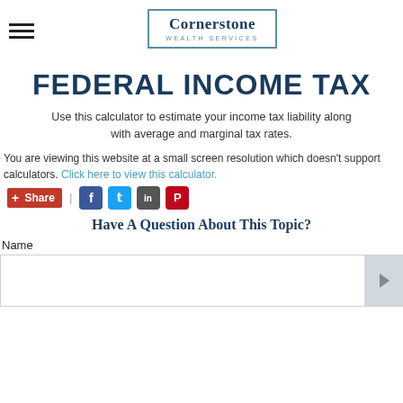Cornerstone Wealth Services
FEDERAL INCOME TAX
Use this calculator to estimate your income tax liability along with average and marginal tax rates.
You are viewing this website at a small screen resolution which doesn't support calculators. Click here to view this calculator.
Share | [social icons: Facebook, Twitter, LinkedIn, Pinterest]
Have A Question About This Topic?
Name